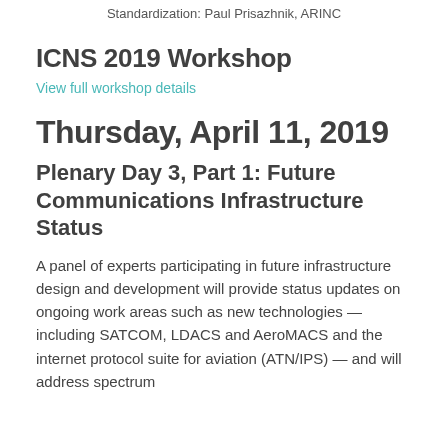Standardization: Paul Prisazhnik, ARINC
ICNS 2019 Workshop
View full workshop details
Thursday, April 11, 2019
Plenary Day 3, Part 1: Future Communications Infrastructure Status
A panel of experts participating in future infrastructure design and development will provide status updates on ongoing work areas such as new technologies — including SATCOM, LDACS and AeroMACS and the internet protocol suite for aviation (ATN/IPS) — and will address spectrum